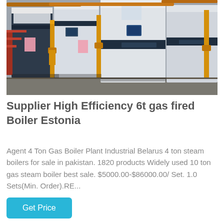[Figure (photo): Industrial boiler room with multiple large white and dark blue gas-fired boilers, connected by yellow/orange pipes and fittings, installed in a facility.]
Supplier High Efficiency 6t gas fired Boiler Estonia
Agent 4 Ton Gas Boiler Plant Industrial Belarus 4 ton steam boilers for sale in pakistan. 1820 products Widely used 10 ton gas steam boiler best sale. $5000.00-$86000.00/ Set. 1.0 Sets(Min. Order).RE...
Get Price